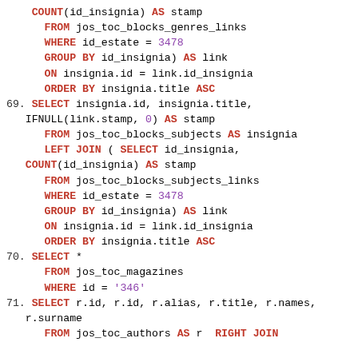SQL code snippet showing queries 69-71 with SELECT, FROM, WHERE, GROUP BY, ON, ORDER BY clauses